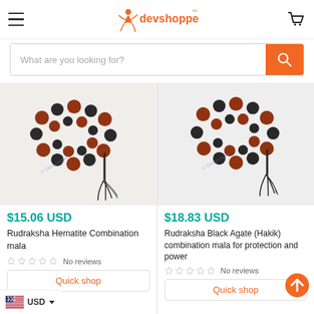Devshoppe - navigation header with hamburger menu, logo, and cart icon
What are you looking for?
[Figure (photo): Rudraksha Hematite Combination mala beads with black tassel on white background]
$15.06 USD
Rudraksha Hematite Combination mala
No reviews
Quick shop
[Figure (photo): Rudraksha Black Agate Hakik combination mala for protection and power with black tassel on white background]
$18.83 USD
Rudraksha Black Agate (Hakik) combination mala for protection and power
No reviews
Quick shop
USD